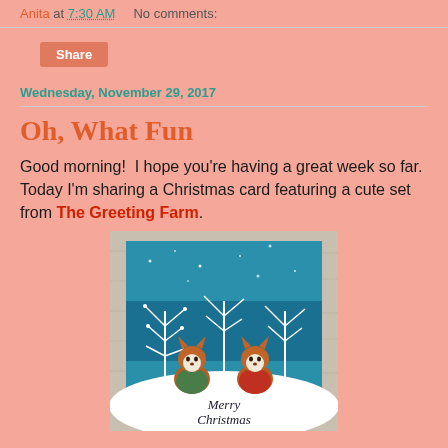Anita at 7:30 AM   No comments:
Share
Wednesday, November 29, 2017
Oh, What Fun
Good morning!  I hope you're having a great week so far. Today I'm sharing a Christmas card featuring a cute set from The Greeting Farm.
[Figure (photo): A handmade Christmas card showing two cute cartoon foxes wearing scarves, standing in a snowy winter scene with white trees and a blue sky background. The card has a light wood-grain border. Text at the bottom reads 'Merry Christmas'.]